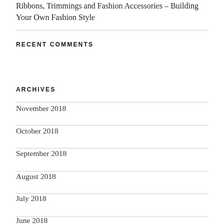Ribbons, Trimmings and Fashion Accessories – Building Your Own Fashion Style
RECENT COMMENTS
ARCHIVES
November 2018
October 2018
September 2018
August 2018
July 2018
June 2018